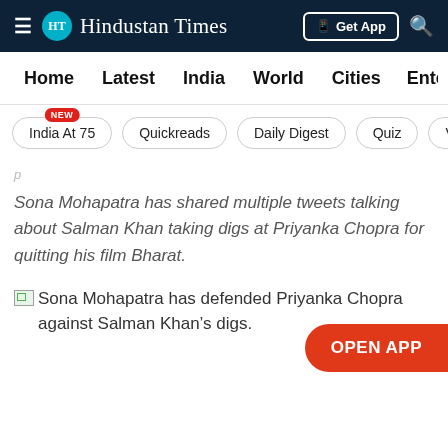HT Hindustan Times | Get App
Home | Latest | India | World | Cities | Entertainment
India At 75 NEW | Quickreads | Daily Digest | Quiz | V
Sona Mohapatra has shared multiple tweets talking about Salman Khan taking digs at Priyanka Chopra for quitting his film Bharat.
[Figure (photo): Broken image placeholder for photo of Sona Mohapatra]
Sona Mohapatra has defended Priyanka Chopra against Salman Khan’s digs.